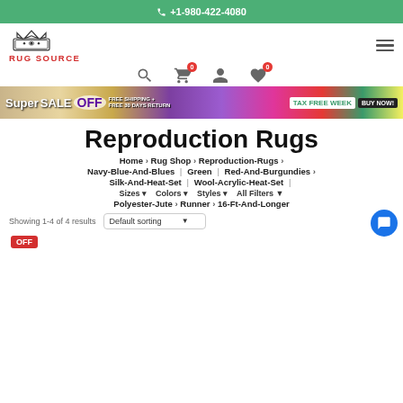+1-980-422-4080
[Figure (logo): Rug Source logo with crown icon and red text]
[Figure (screenshot): Promotional banner: Super Sale OFF, Free Shipping, Tax Free Week, Buy Now]
Reproduction Rugs
Home > Rug Shop > Reproduction-Rugs >
Navy-Blue-And-Blues | Green | Red-And-Burgundies >
Silk-And-Heat-Set | Wool-Acrylic-Heat-Set |
Sizes  Colors  Styles  All Filters
Polyester-Jute > Runner > 16-Ft-And-Longer
Showing 1-4 of 4 results  Default sorting
OFF